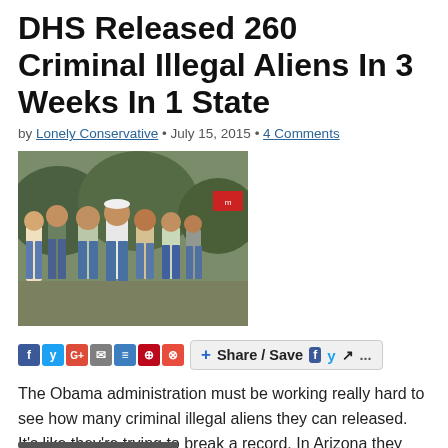DHS Released 260 Criminal Illegal Aliens In 3 Weeks In 1 State
by Lonely Conservative • July 15, 2015 • 4 Comments
[Figure (photo): Group of men standing outdoors, appears to be a news photograph]
[Figure (infographic): Social media share/save toolbar with icons for Facebook, Twitter, Google+, Email, Print, Pinterest, and a Share/Save button]
The Obama administration must be working really hard to see how many criminal illegal aliens they can released. It's like they're trying to break a record. In Arizona they released 260 criminal illegals in just three short weeks! Judicial Watch…